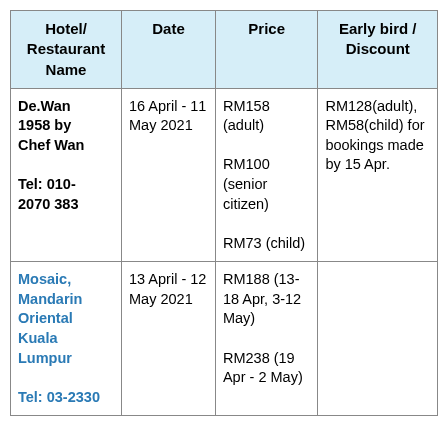| Hotel/ Restaurant Name | Date | Price | Early bird / Discount |
| --- | --- | --- | --- |
| De.Wan 1958 by Chef Wan

Tel: 010-2070 383 | 16 April - 11 May 2021 | RM158 (adult)

RM100 (senior citizen)

RM73 (child) | RM128(adult), RM58(child) for bookings made by 15 Apr. |
| Mosaic, Mandarin Oriental Kuala Lumpur

Tel: 03-2330 | 13 April - 12 May 2021 | RM188 (13-18 Apr, 3-12 May)

RM238 (19 Apr - 2 May) |  |